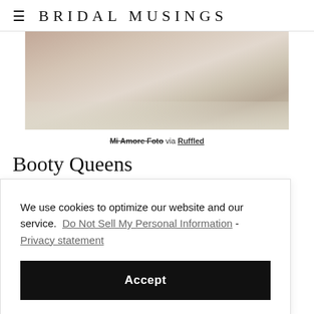≡  BRIDAL MUSINGS
[Figure (photo): Close-up photo of lace fabric detail in beige/cream tones]
Mi Amore Foto via Ruffled
Booty Queens
We use cookies to optimize our website and our service.  Do Not Sell My Personal Information - Privacy statement
Accept